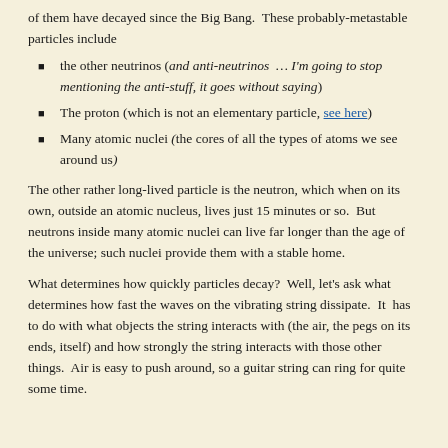of them have decayed since the Big Bang.  These probably-metastable particles include
the other neutrinos (and anti-neutrinos … I'm going to stop mentioning the anti-stuff, it goes without saying)
The proton (which is not an elementary particle, see here)
Many atomic nuclei (the cores of all the types of atoms we see around us)
The other rather long-lived particle is the neutron, which when on its own, outside an atomic nucleus, lives just 15 minutes or so.  But neutrons inside many atomic nuclei can live far longer than the age of the universe; such nuclei provide them with a stable home.
What determines how quickly particles decay?  Well, let's ask what determines how fast the waves on the vibrating string dissipate.  It  has to do with what objects the string interacts with (the air, the pegs on its ends, itself) and how strongly the string interacts with those other things.  Air is easy to push around, so a guitar string can ring for quite some time.